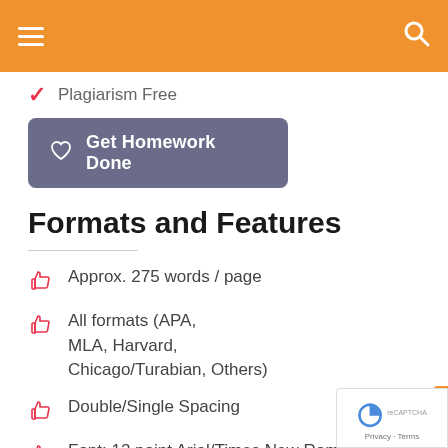Navigation header with hamburger menu and search icon
Plagiarism Free
Get Homework Done
Formats and Features
Approx. 275 words / page
All formats (APA, MLA, Harvard, Chicago/Turabian, Others)
Double/Single Spacing
Font: 12 point Arial/Times New Roman/Others